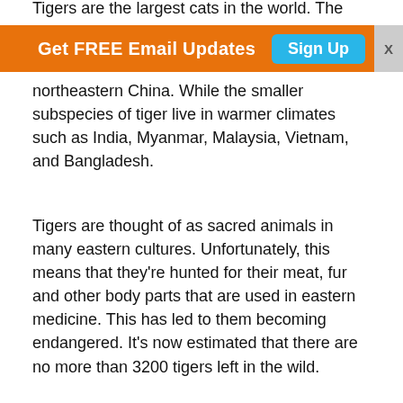Tigers are the largest cats in the world. The biggest tigers northeastern China. While the smaller subspecies of tiger live in warmer climates such as India, Myanmar, Malaysia, Vietnam, and Bangladesh.
[Figure (screenshot): Orange banner advertisement with text 'Get FREE Email Updates' and a cyan 'Sign Up' button, with an X close button on the right.]
Tigers are thought of as sacred animals in many eastern cultures. Unfortunately, this means that they're hunted for their meat, fur and other body parts that are used in eastern medicine. This has led to them becoming endangered. It's now estimated that there are no more than 3200 tigers left in the wild.
When you picture a tiger, you probably picture a big cat with orange fur and thick black stripes. But this is just one subspecies of tiger found in the Sunda Islands. Tigers that are found further north are generally paler with sparse stripings.
It's also interesting to note that no two tigers have the same